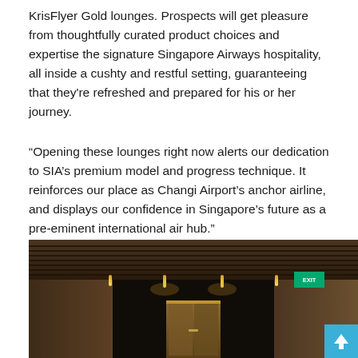KrisFlyer Gold lounges. Prospects will get pleasure from thoughtfully curated product choices and expertise the signature Singapore Airways hospitality, all inside a cushty and restful setting, guaranteeing that they're refreshed and prepared for his or her journey.
“Opening these lounges right now alerts our dedication to SIA’s premium model and progress technique. It reinforces our place as Changi Airport’s anchor airline, and displays our confidence in Singapore’s future as a pre-eminent international air hub.”
[Figure (photo): Interior photo of a luxury airport lounge corridor with dark wood paneling, slatted ceiling, warm lighting, a door at the end, and an exit sign visible on the right side.]